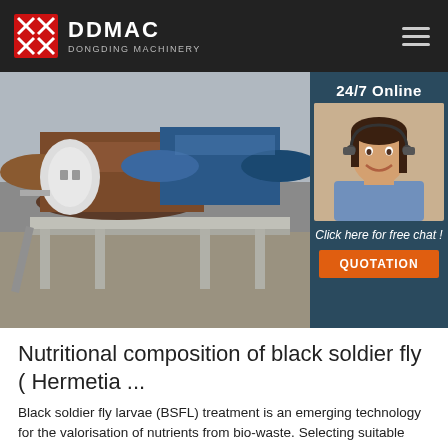DDMAC DONGDING MACHINERY
[Figure (photo): Industrial machinery photo showing large cylindrical drum dryer/rotary drum equipment in a factory setting, with brown and blue drums on a metal frame. Sidebar shows a customer service agent with headset and '24/7 Online', 'Click here for free chat!', and 'QUOTATION' button.]
Nutritional composition of black soldier fly ( Hermetia ...
Black soldier fly larvae (BSFL) treatment is an emerging technology for the valorisation of nutrients from bio-waste. Selecting suitable substrate for